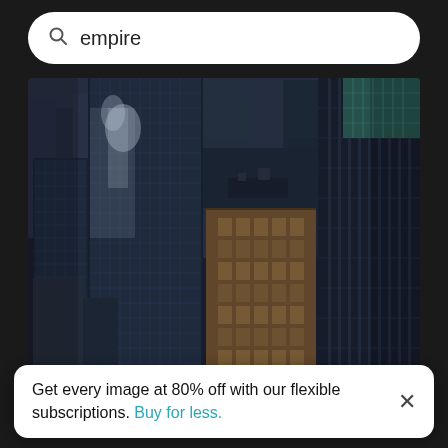empire
[Figure (photo): Aerial view of city buildings, dense skyscrapers with dark glass facades photographed from above, sunlight reflecting off some surfaces]
Aerial view of buildings in city
[Figure (photo): Partial view of another image with light blue sky]
Get every image at 80% off with our flexible subscriptions. Buy for less.